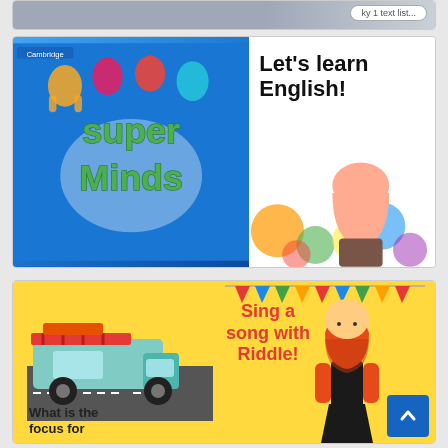[Figure (screenshot): Partial top card showing a blurred/cropped content area]
[Figure (illustration): Super Minds English learning card with blue book cover showing animated children and green Super Minds logo, alongside text 'Let's learn English!' and a teacher photo with colorful paint splashes]
[Figure (illustration): Yellow card showing a food truck on a road, 'Sing a song with Riddle!' in red text, an animated teacher character in hijab, colorful bunting flags, and partial text 'What is the focus for']